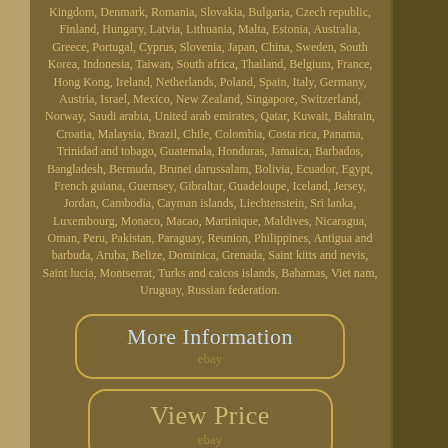Kingdom, Denmark, Romania, Slovakia, Bulgaria, Czech republic, Finland, Hungary, Latvia, Lithuania, Malta, Estonia, Australia, Greece, Portugal, Cyprus, Slovenia, Japan, China, Sweden, South Korea, Indonesia, Taiwan, South africa, Thailand, Belgium, France, Hong Kong, Ireland, Netherlands, Poland, Spain, Italy, Germany, Austria, Israel, Mexico, New Zealand, Singapore, Switzerland, Norway, Saudi arabia, United arab emirates, Qatar, Kuwait, Bahrain, Croatia, Malaysia, Brazil, Chile, Colombia, Costa rica, Panama, Trinidad and tobago, Guatemala, Honduras, Jamaica, Barbados, Bangladesh, Bermuda, Brunei darussalam, Bolivia, Ecuador, Egypt, French guiana, Guernsey, Gibraltar, Guadeloupe, Iceland, Jersey, Jordan, Cambodia, Cayman islands, Liechtenstein, Sri lanka, Luxembourg, Monaco, Macao, Martinique, Maldives, Nicaragua, Oman, Peru, Pakistan, Paraguay, Reunion, Philippines, Antigua and barbuda, Aruba, Belize, Dominica, Grenada, Saint kitts and nevis, Saint lucia, Montserrat, Turks and caicos islands, Bahamas, Viet nam, Uruguay, Russian federation.
[Figure (other): Button labeled 'More Information' with 'ebay' subtext, rounded rectangle border style]
[Figure (other): Button labeled 'View Price' with 'ebay' subtext, rounded rectangle border style]